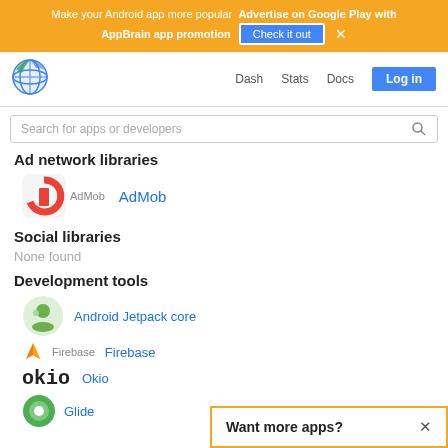Make your Android app more popular  Advertise on Google Play with AppBrain app promotion  Check it out  ×
[Figure (logo): AppBrain navigation logo globe icon]
Dash  Stats  Docs  Log in
Search for apps or developers
Ad network libraries
AdMob
Social libraries
None found
Development tools
Android Jetpack core
Firebase
Okio
Glide
Want more apps?  ×